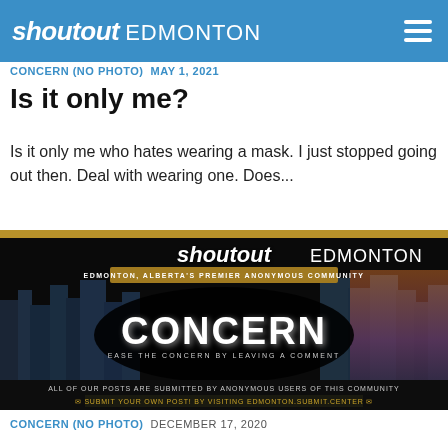shoutout EDMONTON
CONCERN (NO PHOTO) MAY 1, 2021
Is it only me?
Is it only me who hates wearing a mask. I just stopped going out then. Deal with wearing one. Does...
[Figure (logo): Shoutout Edmonton promotional banner with city skyline background, large text reading CONCERN, tagline EASE THE CONCERN BY LEAVING A COMMENT, and bottom text ALL OF OUR POSTS ARE SUBMITTED BY ANONYMOUS USERS OF THIS COMMUNITY, SUBMIT YOUR OWN POST! BY VISITING EDMONTON.SUBMIT.CENTER]
CONCERN (NO PHOTO) DECEMBER 17, 2020